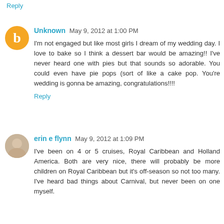Reply
Unknown  May 9, 2012 at 1:00 PM
I'm not engaged but like most girls I dream of my wedding day. I love to bake so I think a dessert bar would be amazing!! I've never heard one with pies but that sounds so adorable. You could even have pie pops (sort of like a cake pop. You're wedding is gonna be amazing, congratulations!!!!
Reply
erin e flynn  May 9, 2012 at 1:09 PM
I've been on 4 or 5 cruises, Royal Caribbean and Holland America. Both are very nice, there will probably be more children on Royal Caribbean but it's off-season so not too many. I've heard bad things about Carnival, but never been on one myself.